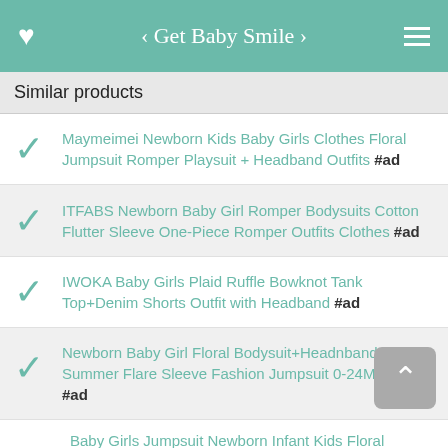< Get Baby Smile >
Similar products
Maymeimei Newborn Kids Baby Girls Clothes Floral Jumpsuit Romper Playsuit + Headband Outfits #ad
ITFABS Newborn Baby Girl Romper Bodysuits Cotton Flutter Sleeve One-Piece Romper Outfits Clothes #ad
IWOKA Baby Girls Plaid Ruffle Bowknot Tank Top+Denim Shorts Outfit with Headband #ad
Newborn Baby Girl Floral Bodysuit+Headnband 2pcs Summer Flare Sleeve Fashion Jumpsuit 0-24Months #ad
Baby Girls Jumpsuit Newborn Infant Kids Floral